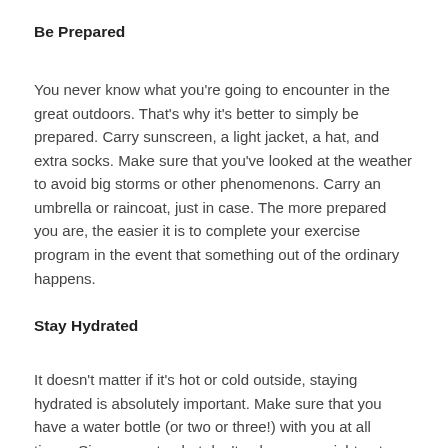Be Prepared
You never know what you're going to encounter in the great outdoors. That's why it's better to simply be prepared. Carry sunscreen, a light jacket, a hat, and extra socks. Make sure that you've looked at the weather to avoid big storms or other phenomenons. Carry an umbrella or raincoat, just in case. The more prepared you are, the easier it is to complete your exercise program in the event that something out of the ordinary happens.
Stay Hydrated
It doesn't matter if it's hot or cold outside, staying hydrated is absolutely important. Make sure that you have a water bottle (or two or three!) with you at all times. Sip your water, but don't gulp or you might get